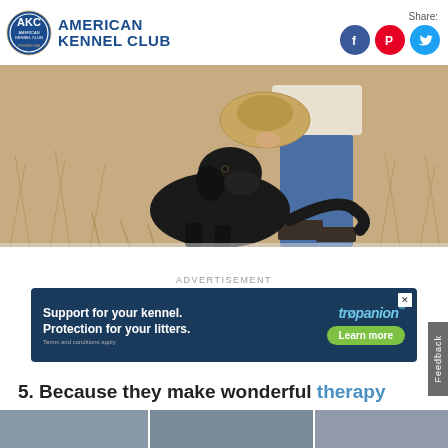[Figure (logo): American Kennel Club logo with AKC circular emblem and text 'American Kennel Club']
[Figure (photo): Black Labrador Retriever dog sitting next to a person in jeans holding a basket hat, outdoors in a dry grass field]
ADVERTISEMENT
[Figure (other): Trupanion advertisement banner: 'Support for your kennel. Protection for your litters. Terms and conditions apply' with 'Learn more' button]
5. Because they make wonderful therapy dogs.
[Figure (photo): Bottom strip showing partial images of dogs]